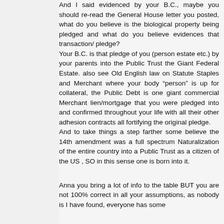And I said evidenced by your B.C., maybe you should re-read the General House letter you posted, what do you believe is the biological property being pledged and what do you believe evidences that transaction/ pledge?
Your B.C. is that pledge of you (person estate etc.) by your parents into the Public Trust the Giant Federal Estate. also see Old English law on Statute Staples and Merchant where your body "person" is up for collateral, the Public Debt is one giant commercial Merchant lien/mortgage that you were pledged into and confirmed throughout your life with all their other adhesion contracts all fortifying the original pledge.
And to take things a step farther some believe the 14th amendment was a full spectrum Naturalization of the entire country into a Public Trust as a citizen of the US , SO in this sense one is born into it.
Anna you bring a lot of info to the table BUT you are not 100% correct in all your assumptions, as nobody is I have found, everyone has some